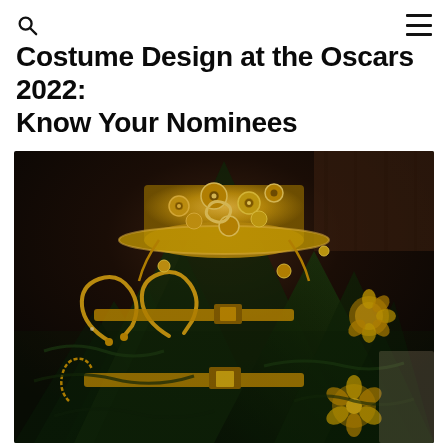Costume Design at the Oscars 2022: Know Your Nominees
[Figure (photo): A decorated Christmas tree with gold ornaments, buttons, jewelry accessories, horseshoes, and golden belt accessories, topped with an elaborate gold crown-like structure covered in buttons and decorative elements. The decorations are gold-toned costume accessories arranged on a dark green artificial pine tree, lit against a dark background.]